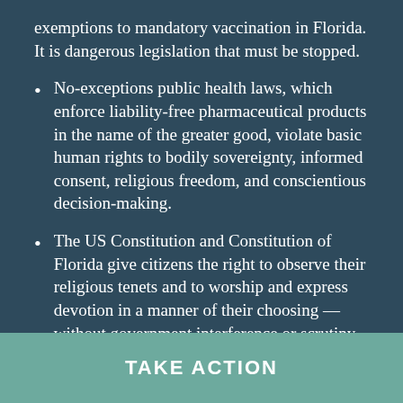exemptions to mandatory vaccination in Florida. It is dangerous legislation that must be stopped.
No-exceptions public health laws, which enforce liability-free pharmaceutical products in the name of the greater good, violate basic human rights to bodily sovereignty, informed consent, religious freedom, and conscientious decision-making.
The US Constitution and Constitution of Florida give citizens the right to observe their religious tenets and to worship and express devotion in a manner of their choosing — without government interference or scrutiny. The removal of religious exemptions will affect citizens' fundamental rights to make decisions for themselves and their families.
TAKE ACTION